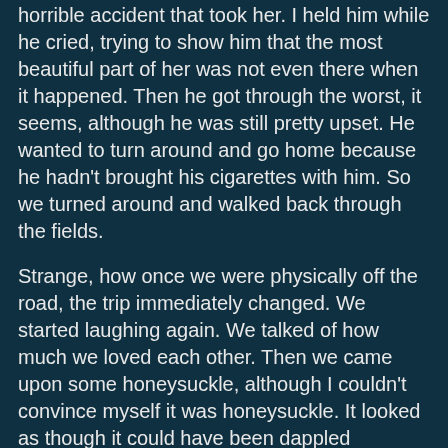horrible accident that took her. I held him while he cried, trying to show him that the most beautiful part of her was not even there when it happened. Then he got through the worst, it seems, although he was still pretty upset. He wanted to turn around and go home because he hadn't brought his cigarettes with him. So we turned around and walked back through the fields.
Strange, how once we were physically off the road, the trip immediately changed. We started laughing again. We talked of how much we loved each other. Then we came upon some honeysuckle, although I couldn't convince myself it was honeysuckle. It looked as though it could have been dappled moonlight through the leaves, it was just gorgeous. Then the smell of the honeysuckle hit me, and it just about took me out of my body. It was so sweet I just wanted to let myself spiral up on the smell and go with it, wherever it went. What a gift.
We got back home and played with our dogs for a few minutes (the cat had ascertained that we were lunatic some time before and had fled). We went inside and talked for a while, talked of the truths I had learned on the road, talked of everything, talked of nothing, laughed at anything. And then...it was over. Just that suddenly, it stopped. My partner went into the barn to get his telescope and look at Mars. I sat at the table outside on the deck and had an actual physical